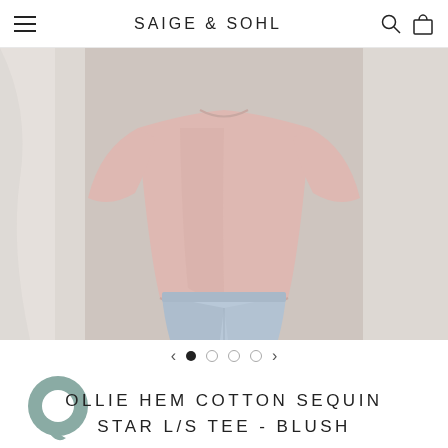SAIGE & SOHL
[Figure (photo): Woman wearing a blush pink long-sleeve cotton tee with a curved hem, paired with light blue jeans. The photo is cropped from the shoulders to mid-shin.]
< • ○ ○ ○ >
OLLIE HEM COTTON SEQUIN STAR L/S TEE - BLUSH